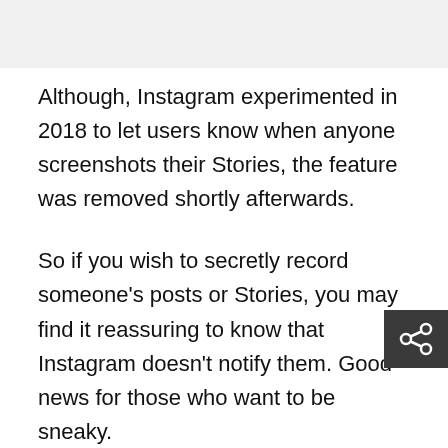[Figure (other): Light gray banner/image area at the top of the page]
Although, Instagram experimented in 2018 to let users know when anyone screenshots their Stories, the feature was removed shortly afterwards.
So if you wish to secretly record someone’s posts or Stories, you may find it reassuring to know that Instagram doesn’t notify them. Good news for those who want to be sneaky.
But, what about Instagram DMs? Does Instagram send notifications if you screenshot someone’s